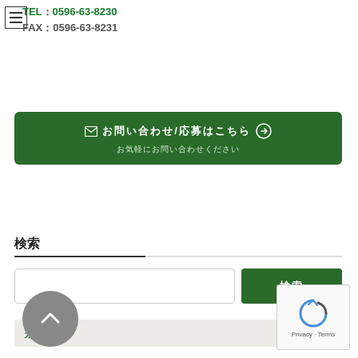TEL：0596-63-8230
FAX：0596-63-8231
[Figure (infographic): Green banner button with envelope icon, Japanese text for email/inquiry link, and subtitle text]
検索
[Figure (screenshot): Search input field with green 検索 button]
カテゴリー
新着情報
お知らせ
観光情報
イベント
採用情報